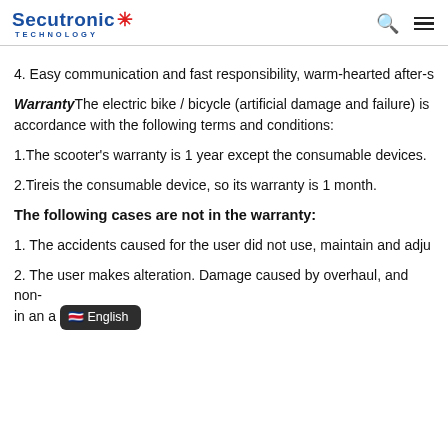Secutronic TECHNOLOGY
4. Easy communication and fast responsibility, warm-hearted after-s
WarrantyThe electric bike / bicycle (artificial damage and failure) is accordance with the following terms and conditions:
1.The scooter's warranty is 1 year except the consumable devices.
2.Tireis the consumable device, so its warranty is 1 month.
The following cases are not in the warranty:
1. The accidents caused for the user did not use, maintain and adju
2. The user makes alteration. Damage caused by overhaul, and non- in an a
English